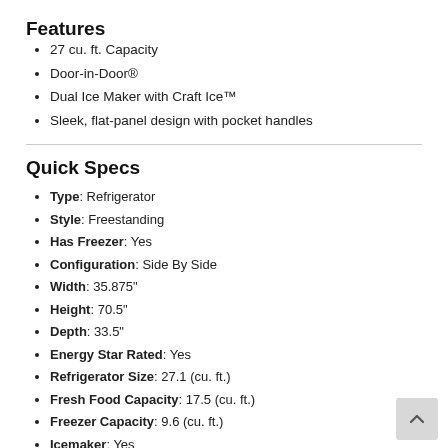Features
27 cu. ft. Capacity
Door-in-Door®
Dual Ice Maker with Craft Ice™
Sleek, flat-panel design with pocket handles
Quick Specs
Type: Refrigerator
Style: Freestanding
Has Freezer: Yes
Configuration: Side By Side
Width: 35.875"
Height: 70.5"
Depth: 33.5"
Energy Star Rated: Yes
Refrigerator Size: 27.1 (cu. ft.)
Fresh Food Capacity: 17.5 (cu. ft.)
Freezer Capacity: 9.6 (cu. ft.)
Icemaker: Yes
Dispenser: Yes
Counter Depth: No
Sabbath Mode: Yes
WiFi Connected: Yes